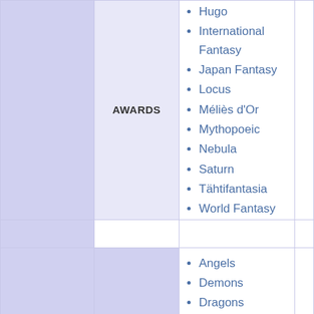Hugo
International Fantasy
Japan Fantasy
Locus
Méliès d'Or
Mythopoeic
Nebula
Saturn
Tähtifantasia
World Fantasy
Angels
Demons
Dragons
Elementals
Faeries